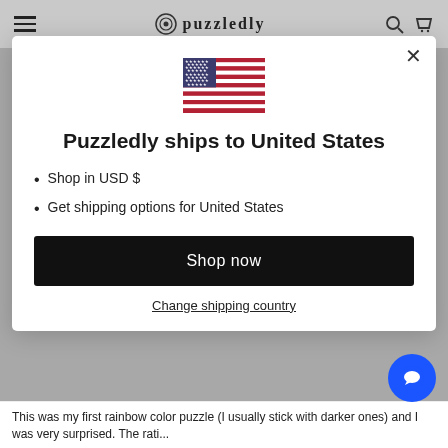[Figure (screenshot): Puzzledly e-commerce website header with hamburger menu, logo, search and cart icons]
[Figure (illustration): United States flag emoji]
Puzzledly ships to United States
Shop in USD $
Get shipping options for United States
Shop now
Change shipping country
This was my first rainbow color puzzle (I usually stick with darker ones) and I was very surprised. The rati...